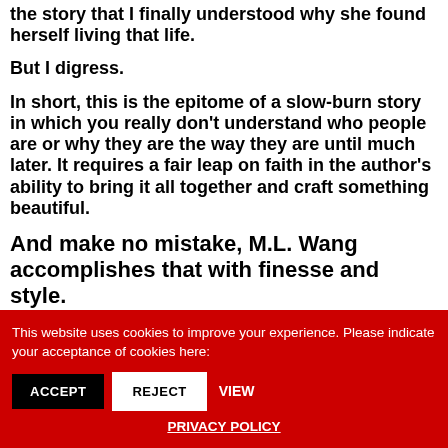the story that I finally understood why she found herself living that life.
But I digress.
In short, this is the epitome of a slow-burn story in which you really don't understand who people are or why they are the way they are until much later. It requires a fair leap on faith in the author's ability to bring it all together and craft something beautiful.
And make no mistake, M.L. Wang accomplishes that with finesse and style.
This website uses cookies to improve your experience. Please indicate your acceptance of cookies here: ACCEPT REJECT VIEW PRIVACY POLICY